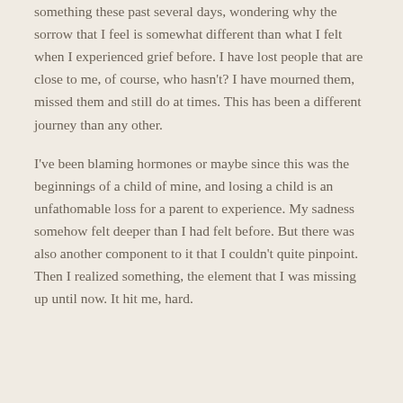something these past several days, wondering why the sorrow that I feel is somewhat different than what I felt when I experienced grief before. I have lost people that are close to me, of course, who hasn't? I have mourned them, missed them and still do at times. This has been a different journey than any other.
I've been blaming hormones or maybe since this was the beginnings of a child of mine, and losing a child is an unfathomable loss for a parent to experience. My sadness somehow felt deeper than I had felt before. But there was also another component to it that I couldn't quite pinpoint. Then I realized something, the element that I was missing up until now. It hit me, hard.